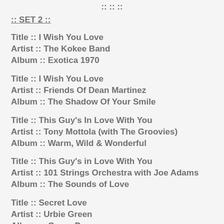:: :: ::
:: SET 2 ::
Title :: I Wish You Love
Artist :: The Kokee Band
Album :: Exotica 1970
Title :: I Wish You Love
Artist :: Friends Of Dean Martinez
Album :: The Shadow Of Your Smile
Title :: This Guy's In Love With You
Artist :: Tony Mottola (with The Groovies)
Album :: Warm, Wild & Wonderful
Title :: This Guy's in Love With You
Artist :: 101 Strings Orchestra with Joe Adams
Album :: The Sounds of Love
Title :: Secret Love
Artist :: Urbie Green
Album :: Green Power